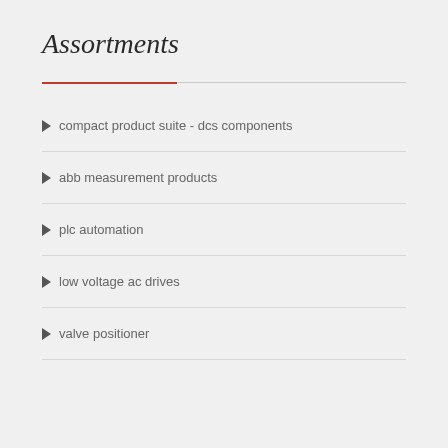Assortments
compact product suite - dcs components
abb measurement products
plc automation
low voltage ac drives
valve positioner